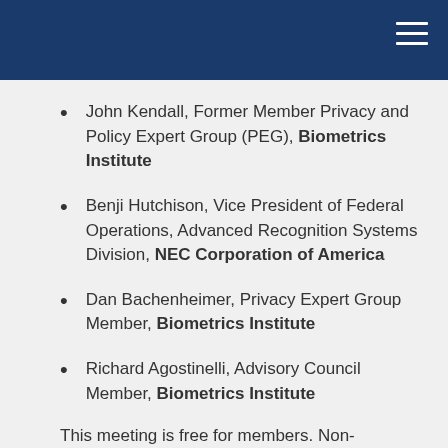John Kendall, Former Member Privacy and Policy Expert Group (PEG), Biometrics Institute
Benji Hutchison, Vice President of Federal Operations, Advanced Recognition Systems Division, NEC Corporation of America
Dan Bachenheimer, Privacy Expert Group Member, Biometrics Institute
Richard Agostinelli, Advisory Council Member, Biometrics Institute
This meeting is free for members. Non-members